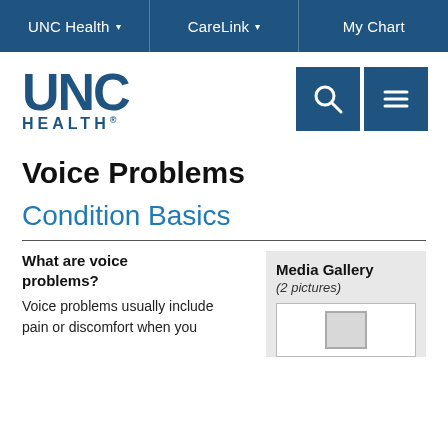UNC Health | CareLink | My Chart
[Figure (logo): UNC Health logo with search and menu icon buttons]
Voice Problems
Condition Basics
What are voice problems?
Voice problems usually include pain or discomfort when you
Media Gallery (2 pictures)